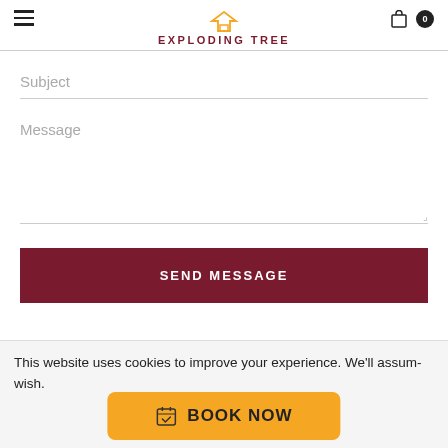EXPLODING TREE
Subject
Message
SEND MESSAGE
This website uses cookies to improve your experience. We'll assume wish.
BOOK NOW